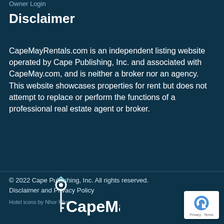Owner Login
Disclaimer
CapeMayRentals.com is an independent listing website operated by Cape Publishing, Inc. and associated with CapeMay.com, and is neither a broker nor an agency. This website showcases properties for rent but does not attempt to replace or perform the functions of a professional real estate agent or broker.
© 2022 Cape Publishing, Inc. All rights reserved.
Disclaimer and Privacy Policy
Hotel icons by Nhor Phai
[Figure (logo): CapeMay.com logo with key icon]